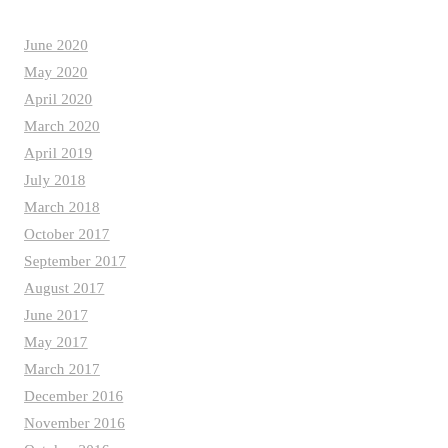June 2020
May 2020
April 2020
March 2020
April 2019
July 2018
March 2018
October 2017
September 2017
August 2017
June 2017
May 2017
March 2017
December 2016
November 2016
October 2016
September 2016
June 2016